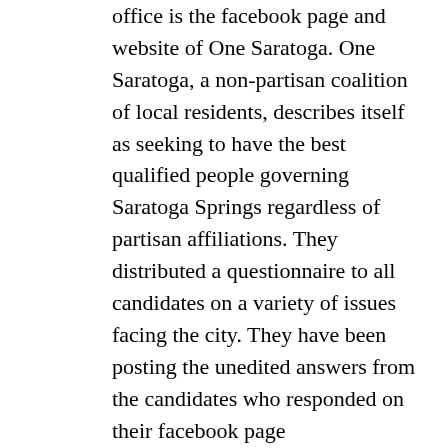office is the facebook page and website of One Saratoga. One Saratoga, a non-partisan coalition of local residents, describes itself as seeking to have the best qualified people governing Saratoga Springs regardless of partisan affiliations. They distributed a questionnaire to all candidates on a variety of issues facing the city. They have been posting the unedited answers from the candidates who responded on their facebook page (facebook.com/RealOneSaratoga) and also on their website https://realonesaratoga.org/ The only drawback is only one of the candidates on the Democratic line responded, but the answers of all the Republican and independent candidates can be found there on issues such as homelessness, the greenbelt, police issues, etc. Hope that helps.